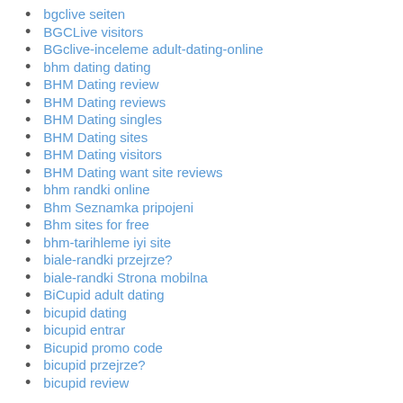bgclive seiten
BGCLive visitors
BGclive-inceleme adult-dating-online
bhm dating dating
BHM Dating review
BHM Dating reviews
BHM Dating singles
BHM Dating sites
BHM Dating visitors
BHM Dating want site reviews
bhm randki online
Bhm Seznamka pripojeni
Bhm sites for free
bhm-tarihleme iyi site
biale-randki przejrze?
biale-randki Strona mobilna
BiCupid adult dating
bicupid dating
bicupid entrar
Bicupid promo code
bicupid przejrze?
bicupid review